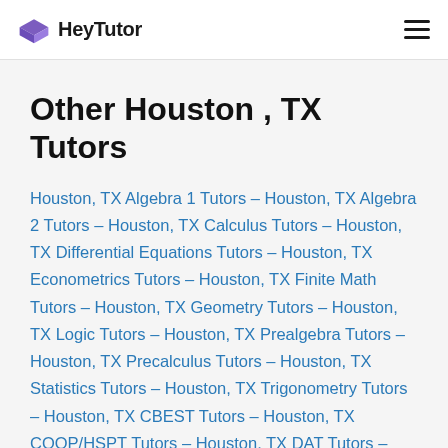HeyTutor
Other Houston , TX Tutors
Houston, TX Algebra 1 Tutors – Houston, TX Algebra 2 Tutors – Houston, TX Calculus Tutors – Houston, TX Differential Equations Tutors – Houston, TX Econometrics Tutors – Houston, TX Finite Math Tutors – Houston, TX Geometry Tutors – Houston, TX Logic Tutors – Houston, TX Prealgebra Tutors – Houston, TX Precalculus Tutors – Houston, TX Statistics Tutors – Houston, TX Trigonometry Tutors – Houston, TX CBEST Tutors – Houston, TX COOP/HSPT Tutors – Houston, TX DAT Tutors – Houston, TX GMAT